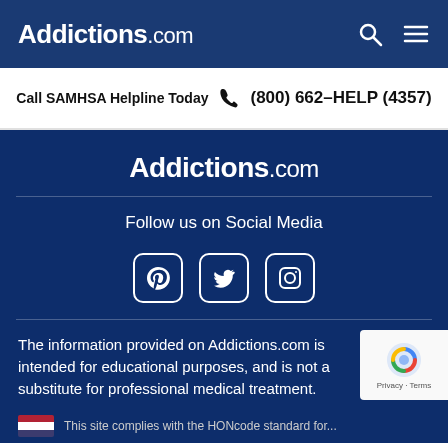Addictions.com
Call SAMHSA Helpline Today  (800) 662-HELP (4357)
Addictions.com
Follow us on Social Media
[Figure (illustration): Social media icons: Pinterest, Twitter, Instagram — white rounded square outlines on dark blue background]
The information provided on Addictions.com is intended for educational purposes, and is not a substitute for professional medical treatment.
[Figure (other): reCAPTCHA badge with Privacy - Terms text]
This site complies with the HONcode standard for...